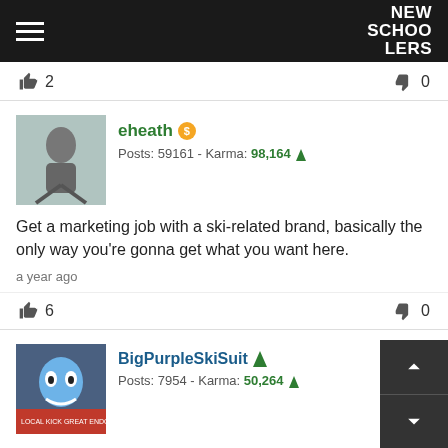NEW SCHOOLERS
👍 2   👎 0
eheath  Posts: 59161 - Karma: 98,164
Get a marketing job with a ski-related brand, basically the only way you're gonna get what you want here.
a year ago
👍 6   👎 0
BigPurpleSkiSuit  Posts: 7954 - Karma: 50,264
Rich kid living on Daddy's money in college, but taking it slow to 'find yourself'